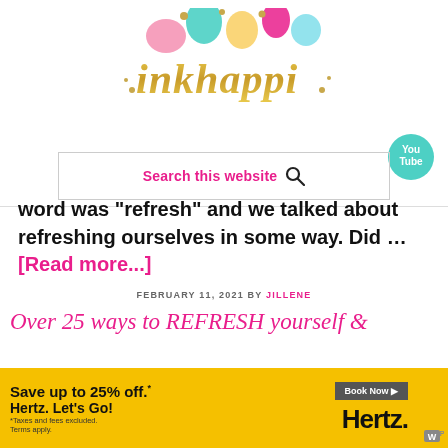[Figure (logo): Inkhappi blog logo with decorative balloons and gold script text reading 'inkhappi']
[Figure (logo): YouTube circular badge icon in teal/cyan color]
[Figure (screenshot): Search box with pink text 'Search this website' and magnifying glass icon]
word was "refresh" and we talked about refreshing ourselves in some way. Did … [Read more...]
FEBRUARY 11, 2021 BY JILLENE
Over 25 ways to REFRESH yourself &
[Figure (infographic): Hertz advertisement banner: Save up to 25% off. Hertz. Let's Go! Book Now button. Yellow background.]